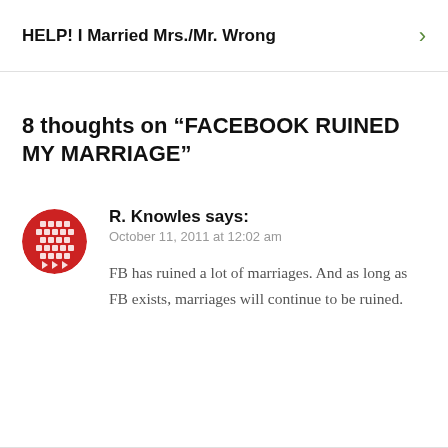HELP! I Married Mrs./Mr. Wrong
8 thoughts on “FACEBOOK RUINED MY MARRIAGE”
R. Knowles says:
October 11, 2011 at 12:02 am

FB has ruined a lot of marriages. And as long as FB exists, marriages will continue to be ruined.